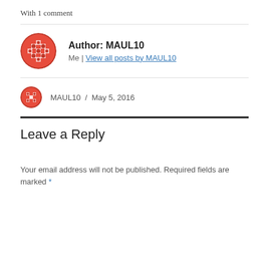With 1 comment
Author: MAUL10
Me | View all posts by MAUL10
MAUL10 / May 5, 2016
Leave a Reply
Your email address will not be published. Required fields are marked *